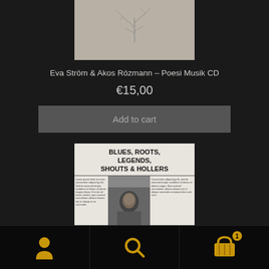[Figure (photo): CD album cover for Eva Ström & Akos Rózmann – Poesi Musik, showing a light grey/beige background with a hand-drawn branch or twig sketch]
Eva Ström & Akos Rózmann – Poesi Musik CD
€15,00
Add to cart
[Figure (photo): Album/book cover for Blues, Roots, Legends, Shouts & Hollers by Paul Dutton. White background with bold black text title at top, a photo of Paul Dutton in the middle, and text columns on either side.]